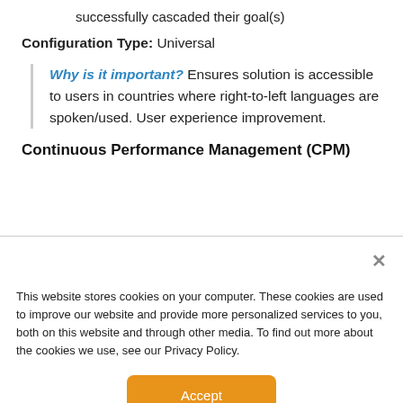Display confirmation message indicating user(s) successfully cascaded their goal(s)
Configuration Type: Universal
Why is it important? Ensures solution is accessible to users in countries where right-to-left languages are spoken/used. User experience improvement.
Continuous Performance Management (CPM)
This website stores cookies on your computer. These cookies are used to improve our website and provide more personalized services to you, both on this website and through other media. To find out more about the cookies we use, see our Privacy Policy.
Accept